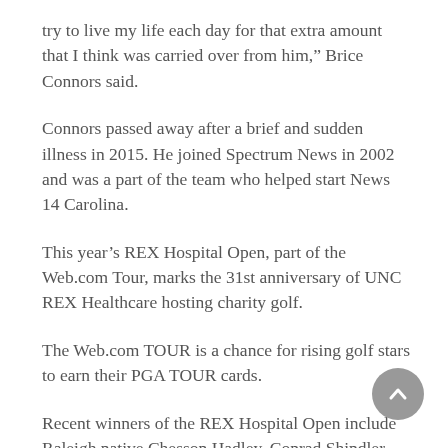try to live my life each day for that extra amount that I think was carried over from him," Brice Connors said.
Connors passed away after a brief and sudden illness in 2015. He joined Spectrum News in 2002 and was a part of the team who helped start News 14 Carolina.
This year's REX Hospital Open, part of the Web.com Tour, marks the 31st anniversary of UNC REX Healthcare hosting charity golf.
The Web.com TOUR is a chance for rising golf stars to earn their PGA TOUR cards.
Recent winners of the REX Hospital Open include Raleigh native Chesson Hadley, Conrad Shindler and Trey Mullinax who are currently playing on the PGA TOUR.